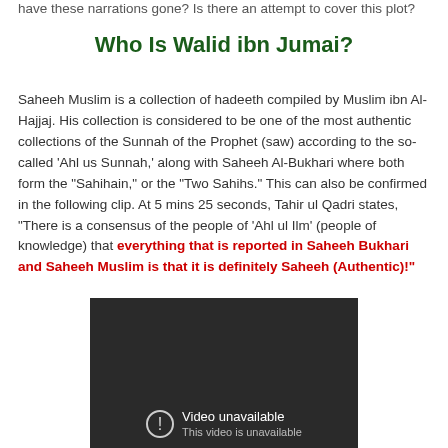have these narrations gone? Is there an attempt to cover this plot?
Who Is Walid ibn Jumai?
Saheeh Muslim is a collection of hadeeth compiled by Muslim ibn Al-Hajjaj. His collection is considered to be one of the most authentic collections of the Sunnah of the Prophet (saw) according to the so-called 'Ahl us Sunnah,' along with Saheeh Al-Bukhari where both form the "Sahihain," or the "Two Sahihs." This can also be confirmed in the following clip. At 5 mins 25 seconds, Tahir ul Qadri states, "There is a consensus of the people of 'Ahl ul Ilm' (people of knowledge) that everything that is reported in Saheeh Bukhari and Saheeh Muslim is that it is definitely Saheeh (Authentic)!"
[Figure (screenshot): Video unavailable – YouTube embedded video player showing 'Video unavailable. This video is unavailable.' error message on dark background.]